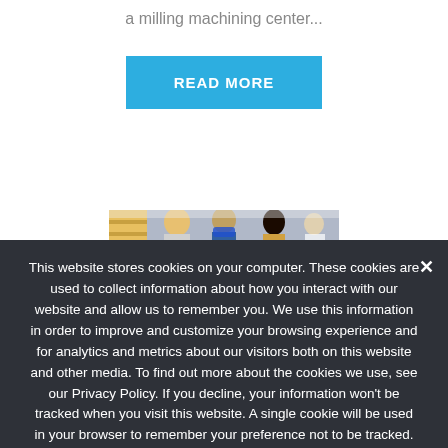a milling machining center...
READ MORE
[Figure (photo): People wearing masks at what appears to be a trade show or professional event]
This website stores cookies on your computer. These cookies are used to collect information about how you interact with our website and allow us to remember you. We use this information in order to improve and customize your browsing experience and for analytics and metrics about our visitors both on this website and other media. To find out more about the cookies we use, see our Privacy Policy. If you decline, your information won't be tracked when you visit this website. A single cookie will be used in your browser to remember your preference not to be tracked.
Accept
Don't Accept
Privacybeleid